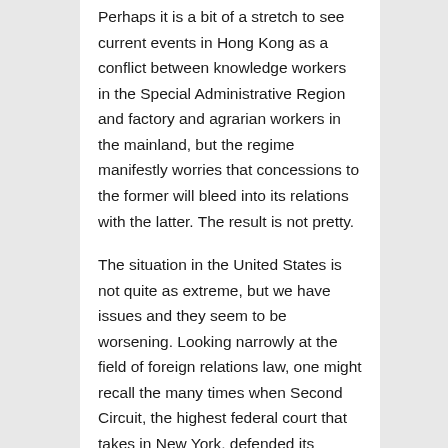Perhaps it is a bit of a stretch to see current events in Hong Kong as a conflict between knowledge workers in the Special Administrative Region and factory and agrarian workers in the mainland, but the regime manifestly worries that concessions to the former will bleed into its relations with the latter. The result is not pretty.

The situation in the United States is not quite as extreme, but we have issues and they seem to be worsening. Looking narrowly at the field of foreign relations law, one might recall the many times when Second Circuit, the highest federal court that takes in New York, defended its decisions as necessary to protect the city's status as a world financial center. Without exception, the Supreme Court